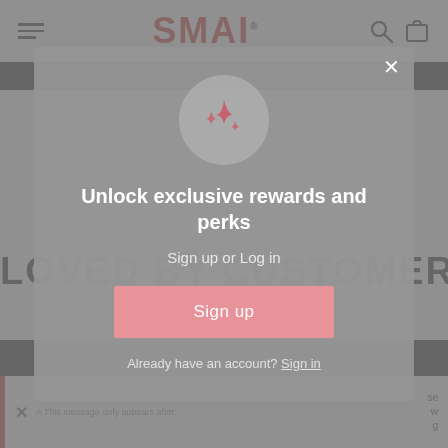SMAI — navigation header with hamburger menu, SMAI logo, search and cart icons
LOVED BY CUSTOMERS
[Figure (screenshot): SMAI website screenshot showing a loyalty rewards modal popup with sparkle icon, 'Unlock exclusive rewards and perks' heading, 'Sign up or Log in' text, a pink Sign up button, and 'Already have an account? Sign in' link]
Unlock exclusive rewards and perks
Sign up or Log in
Sign up
Already have an account? Sign in